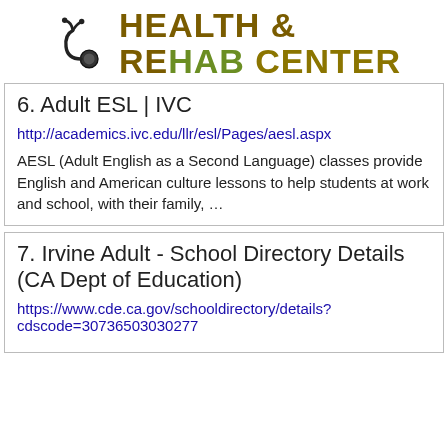[Figure (logo): Health & Rehab Center logo with stethoscope icon and stylized text]
6. Adult ESL | IVC
http://academics.ivc.edu/llr/esl/Pages/aesl.aspx
AESL (Adult English as a Second Language) classes provide English and American culture lessons to help students at work and school, with their family, …
7. Irvine Adult - School Directory Details (CA Dept of Education)
https://www.cde.ca.gov/schooldirectory/details?cdscode=30736503030277